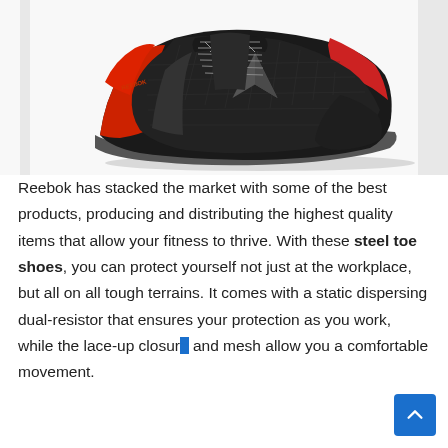[Figure (photo): A black and red Reebok steel toe athletic/running shoe viewed from the side, with a dark grey sole and the Reebok vector logo on the side.]
Reebok has stacked the market with some of the best products, producing and distributing the highest quality items that allow your fitness to thrive. With these steel toe shoes, you can protect yourself not just at the workplace, but all on all tough terrains. It comes with a static dispersing dual-resistor that ensures your protection as you work, while the lace-up closure and mesh allow you a comfortable movement.